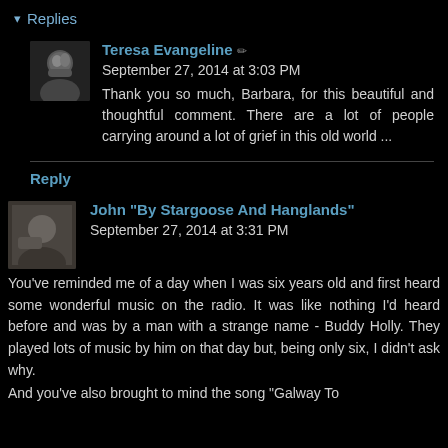▾ Replies
Teresa Evangeline ✏ September 27, 2014 at 3:03 PM
Thank you so much, Barbara, for this beautiful and thoughtful comment. There are a lot of people carrying around a lot of grief in this old world ...
Reply
John "By Stargoose And Hanglands" September 27, 2014 at 3:31 PM
You've reminded me of a day when I was six years old and first heard some wonderful music on the radio. It was like nothing I'd heard before and was by a man with a strange name - Buddy Holly. They played lots of music by him on that day but, being only six, I didn't ask why.
And you've also brought to mind the song "Galway To